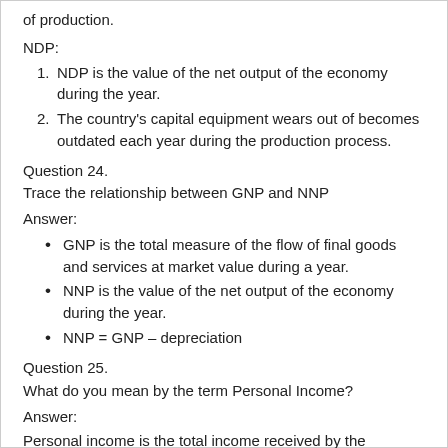of production.
NDP:
NDP is the value of the net output of the economy during the year.
The country's capital equipment wears out of becomes outdated each year during the production process.
Question 24.
Trace the relationship between GNP and NNP
Answer:
GNP is the total measure of the flow of final goods and services at market value during a year.
NNP is the value of the net output of the economy during the year.
NNP = GNP – depreciation
Question 25.
What do you mean by the term Personal Income?
Answer:
Personal income is the total income received by the individuals of a country from all sources before payment of direct taxes in a year.